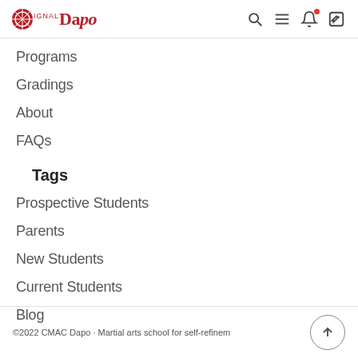Dapo
Programs
Gradings
About
FAQs
Tags
Prospective Students
Parents
New Students
Current Students
Blog
©2022 CMAC Dapo · Martial arts school for self-refinement